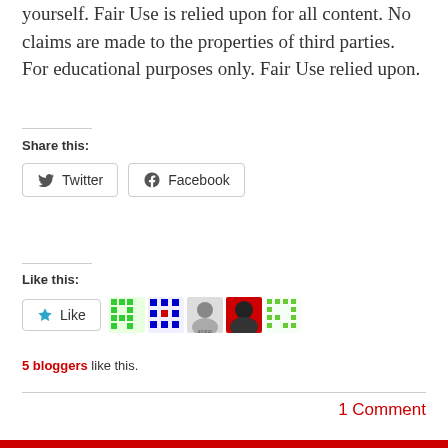yourself. Fair Use is relied upon for all content. No claims are made to the properties of third parties. For educational purposes only. Fair Use relied upon.
Share this:
Twitter  Facebook
Like this:
Like  5 bloggers like this.
1 Comment